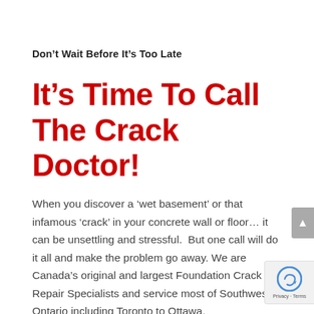Don’t Wait Before It’s Too Late
It’s Time To Call The Crack Doctor!
When you discover a ‘wet basement’ or that infamous ‘crack’ in your concrete wall or floor… it can be unsettling and stressful.  But one call will do it all and make the problem go away. We are Canada’s original and largest Foundation Crack Repair Specialists and service most of Southwest Ontario including Toronto to Ottawa.